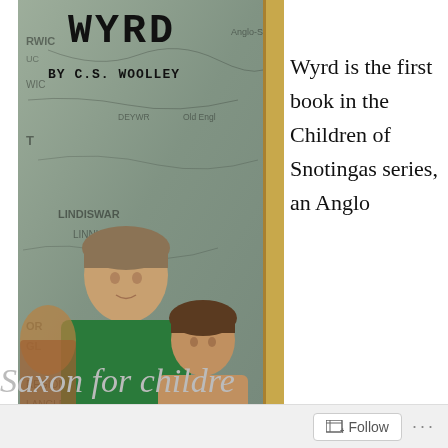[Figure (illustration): Book cover of 'WYRD' by C.S. Woolley, showing two children in front of a map background. The cover has a grey-green tone with a golden spine. Title in large bold monospaced font at top, author name below.]
Wyrd is the first book in the Children of Snotingas series, an Anglo
Saxon for childre...
Follow ···